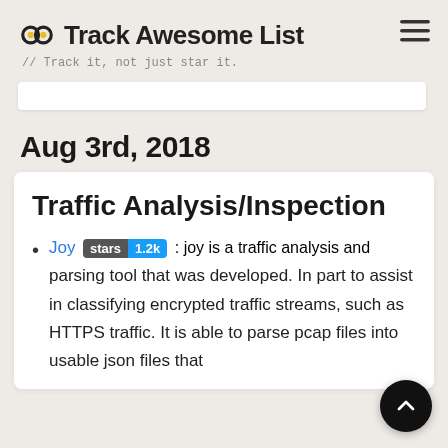Track Awesome List // Track it, not just star it.
Aug 3rd, 2018
Traffic Analysis/Inspection
Joy stars 1.2k : joy is a traffic analysis and parsing tool that was developed. In part to assist in classifying encrypted traffic streams, such as HTTPS traffic. It is able to parse pcap files into usable json files that